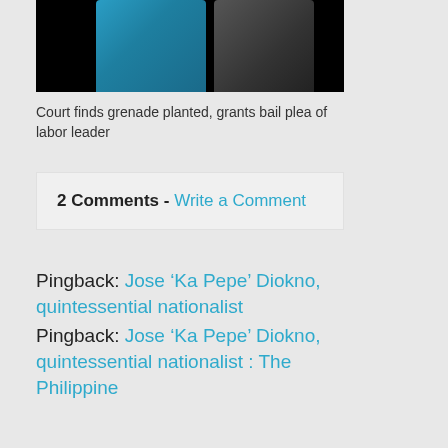[Figure (photo): Two people standing together, one wearing a blue tank top, against a dark background]
Court finds grenade planted, grants bail plea of labor leader
2 Comments - Write a Comment
Pingback: Jose ‘Ka Pepe’ Diokno, quintessential nationalist
Pingback: Jose ‘Ka Pepe’ Diokno, quintessential nationalist : The Philippine ...